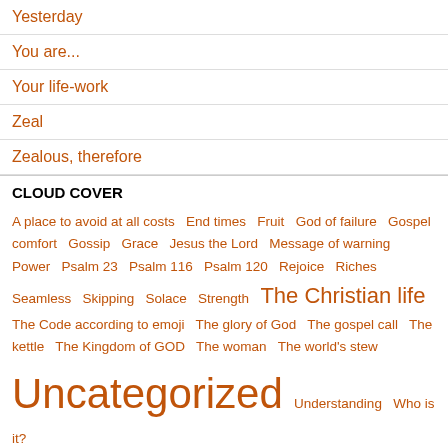Yesterday
You are...
Your life-work
Zeal
Zealous, therefore
CLOUD COVER
A place to avoid at all costs  End times  Fruit  God of failure  Gospel comfort  Gossip  Grace  Jesus the Lord  Message of warning  Power  Psalm 23  Psalm 116  Psalm 120  Rejoice  Riches  Seamless  Skipping  Solace  Strength  The Christian life  The Code according to emoji  The glory of God  The gospel call  The kettle  The Kingdom of GOD  The woman  The world's stew  Uncategorized  Understanding  Who is it?